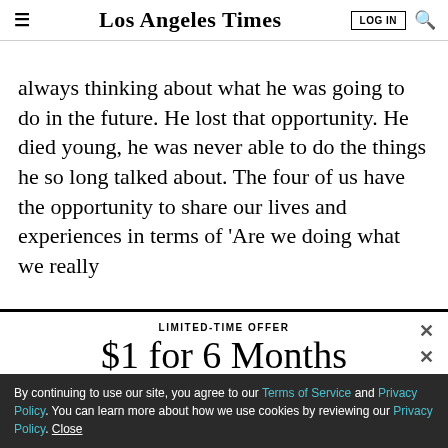Los Angeles Times — LOG IN
always thinking about what he was going to do in the future. He lost that opportunity. He died young, he was never able to do the things he so long talked about. The four of us have the opportunity to share our lives and experiences in terms of 'Are we doing what we really
LIMITED-TIME OFFER
$1 for 6 Months
SUBSCRIBE NOW
By continuing to use our site, you agree to our Terms of Service and Privacy Policy. You can learn more about how we use cookies by reviewing our Privacy Policy. Close